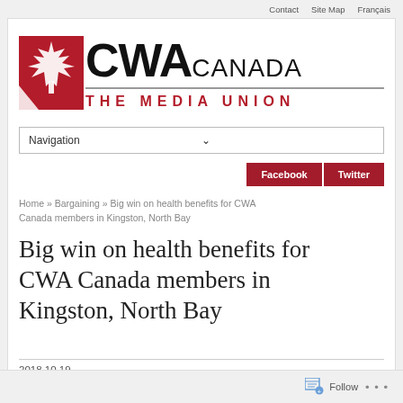Contact   Site Map   Français
[Figure (logo): CWA Canada – The Media Union logo with red maple leaf icon, bold CWA CANADA text, and red tagline THE MEDIA UNION]
Navigation ▾
Facebook   Twitter
Home » Bargaining » Big win on health benefits for CWA Canada members in Kingston, North Bay
Big win on health benefits for CWA Canada members in Kingston, North Bay
2018.10.19
Follow ...